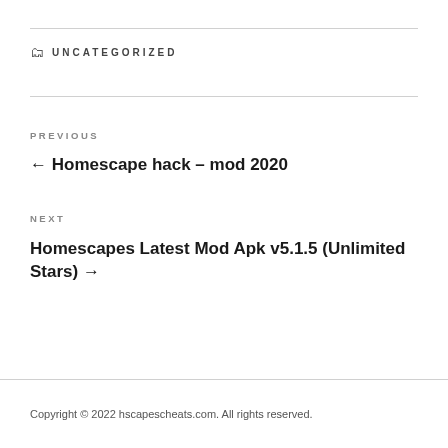🗂 UNCATEGORIZED
PREVIOUS
← Homescape hack – mod 2020
NEXT
Homescapes Latest Mod Apk v5.1.5 (Unlimited Stars) →
Copyright © 2022 hscapescheats.com. All rights reserved.